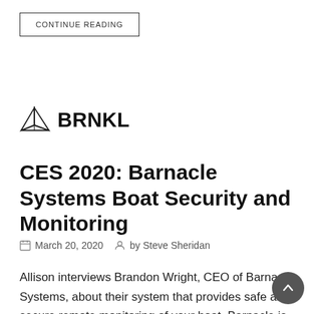CONTINUE READING
[Figure (logo): BRNKL logo: geometric triangular sailing boat icon followed by bold text BRNKL]
CES 2020: Barnacle Systems Boat Security and Monitoring
March 20, 2020   by Steve Sheridan
Allison interviews Brandon Wright, CEO of Barnacle Systems, about their system that provides safe and secure remote monitoring of your boat. Barnacle is